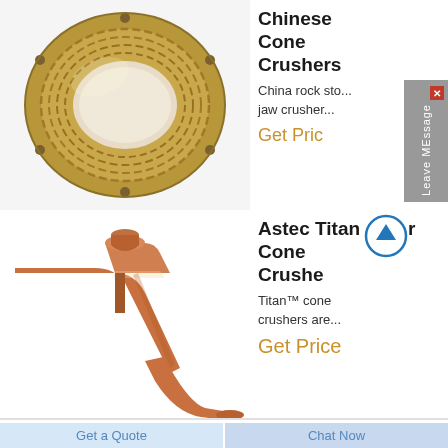[Figure (photo): Bronze or steel threaded ring/bushing component with central hole and bolt holes, viewed from above, industrial machine part]
Chinese Cone Crushers
China rock sto... jaw crusher...
Get Pric
[Figure (photo): Copper/bronze curved pipe or cone crusher wear part with elbow shape, industrial component]
Astec Titan Cone Crusher
Titan™ cone crushers are...
Get Price
Get a Quote
Chat Now